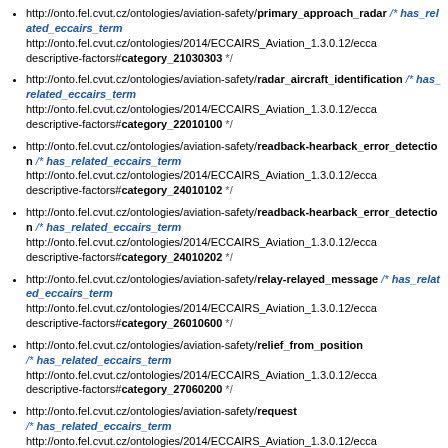http://onto.fel.cvut.cz/ontologies/aviation-safety/primary_approach_radar /* has_related_eccairs_term http://onto.fel.cvut.cz/ontologies/2014/ECCAIRS_Aviation_1.3.0.12/ecca descriptive-factors#category_21030303 */
http://onto.fel.cvut.cz/ontologies/aviation-safety/radar_aircraft_identification /* has_related_eccairs_term http://onto.fel.cvut.cz/ontologies/2014/ECCAIRS_Aviation_1.3.0.12/ecca descriptive-factors#category_22010100 */
http://onto.fel.cvut.cz/ontologies/aviation-safety/readback-hearback_error_detection /* has_related_eccairs_term http://onto.fel.cvut.cz/ontologies/2014/ECCAIRS_Aviation_1.3.0.12/ecca descriptive-factors#category_24010102 */
http://onto.fel.cvut.cz/ontologies/aviation-safety/readback-hearback_error_detection /* has_related_eccairs_term http://onto.fel.cvut.cz/ontologies/2014/ECCAIRS_Aviation_1.3.0.12/ecca descriptive-factors#category_24010202 */
http://onto.fel.cvut.cz/ontologies/aviation-safety/relay-relayed_message /* has_related_eccairs_term http://onto.fel.cvut.cz/ontologies/2014/ECCAIRS_Aviation_1.3.0.12/ecca descriptive-factors#category_26010600 */
http://onto.fel.cvut.cz/ontologies/aviation-safety/relief_from_position /* has_related_eccairs_term http://onto.fel.cvut.cz/ontologies/2014/ECCAIRS_Aviation_1.3.0.12/ecca descriptive-factors#category_27060200 */
http://onto.fel.cvut.cz/ontologies/aviation-safety/request /* has_related_eccairs_term http://onto.fel.cvut.cz/ontologies/2014/ECCAIRS_Aviation_1.3.0.12/ecca descriptive-factors#category_24010107 */
http://onto.fel.cvut.cz/ontologies/aviation-safety/request /* has_related_eccairs_term